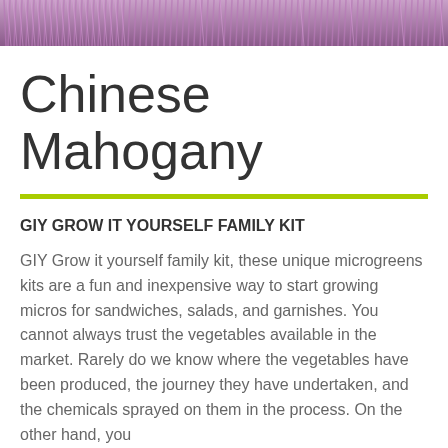[Figure (photo): Close-up photo of purple/pink microgreens shoots densely packed, viewed from above]
Chinese Mahogany
GIY GROW IT YOURSELF FAMILY KIT
GIY Grow it yourself family kit, these unique microgreens kits are a fun and inexpensive way to start growing micros for sandwiches, salads, and garnishes. You cannot always trust the vegetables available in the market. Rarely do we know where the vegetables have been produced, the journey they have undertaken, and the chemicals sprayed on them in the process. On the other hand, you